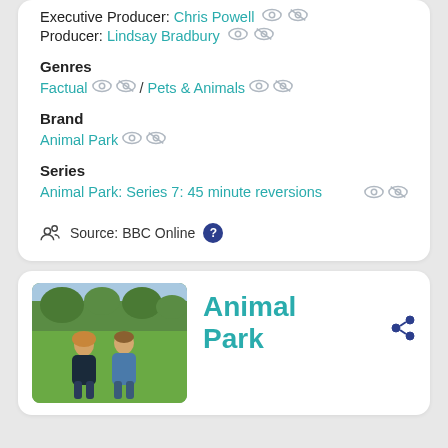Executive Producer: Chris Powell
Producer: Lindsay Bradbury
Genres
Factual / Pets & Animals
Brand
Animal Park
Series
Animal Park: Series 7: 45 minute reversions
Source: BBC Online
[Figure (photo): Two people (a woman and a man) sitting on grass in an outdoor park/garden setting with trees in the background.]
Animal Park